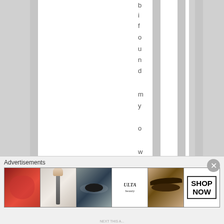[Figure (screenshot): Web page screenshot showing a document with vertical gray column stripes against white background, with vertical text reading 'bifoundmyownway,.w' running down the page]
b i f o u n d m y o w n w a y , , w
[Figure (screenshot): Advertisement bar at bottom showing 'Advertisements' label and a row of beauty/cosmetics ads including lips, brush, eye, Ulta Beauty logo, eyebrows, and Shop Now button]
Advertisements